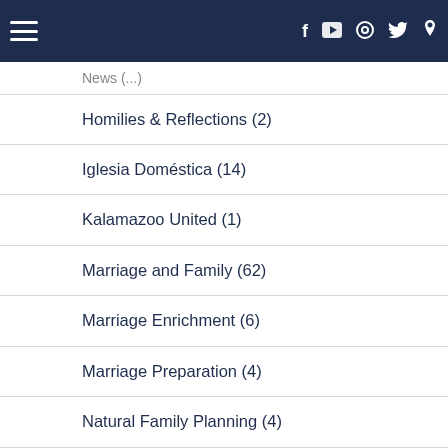Navigation header with hamburger menu and social icons (Facebook, YouTube, Chat, Twitter, Pinterest)
News (...)
Homilies & Reflections (2)
Iglesia Doméstica (14)
Kalamazoo United (1)
Marriage and Family (62)
Marriage Enrichment (6)
Marriage Preparation (4)
Natural Family Planning (4)
News (41)
News Releases & Statements (4)
Pastoral Letters (1)